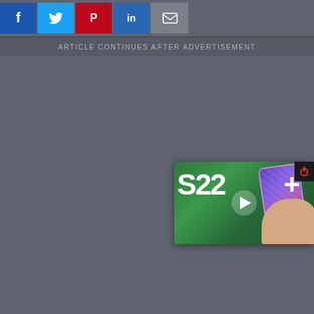[Figure (screenshot): Social media sharing bar with Facebook, Twitter, Pinterest, LinkedIn, and Email buttons]
ARTICLE CONTINUES AFTER ADVERTISEMENT
[Figure (screenshot): Advertisement area with a floating video player showing Samsung S22+ promotional content with a play button overlay and close button]